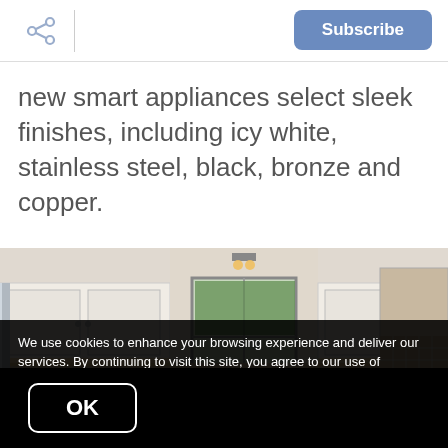Subscribe
new smart appliances select sleek finishes, including icy white, stainless steel, black, bronze and copper.
[Figure (photo): Kitchen interior with white cabinets, under-cabinet lighting, a window with green trees visible outside, a light fixture above the window, and a range hood on the right side.]
We use cookies to enhance your browsing experience and deliver our services. By continuing to visit this site, you agree to our use of cookies. More info
OK